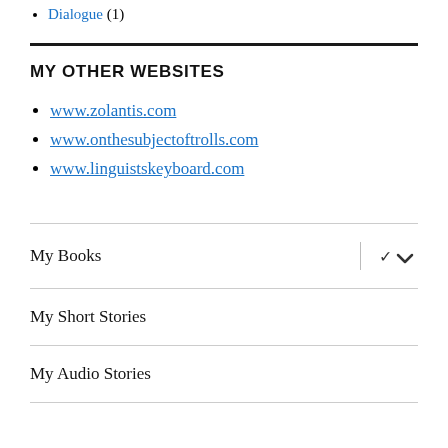Dialogue (1)
MY OTHER WEBSITES
www.zolantis.com
www.onthesubjectoftrolls.com
www.linguistskeyboard.com
My Books
My Short Stories
My Audio Stories